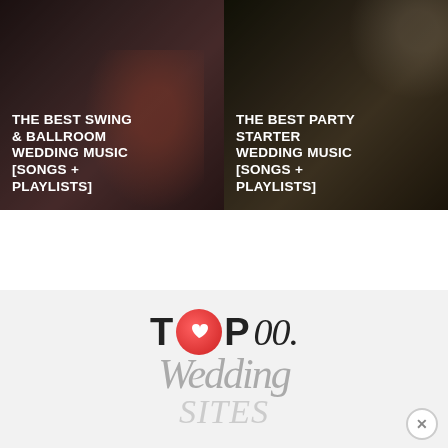[Figure (photo): Two-column image block. Left: dancing couple (ballroom/tango) with text overlay 'THE BEST SWING & BALLROOM WEDDING MUSIC [SONGS + PLAYLISTS]'. Right: party scene (chandelier/reception hall) with text overlay 'THE BEST PARTY STARTER WEDDING MUSIC [SONGS + PLAYLISTS]'.]
[Figure (logo): Top 00 Wedding Sites logo — stylized text with heart circle icon, script 'wedding' and 'SITES' below in light gray.]